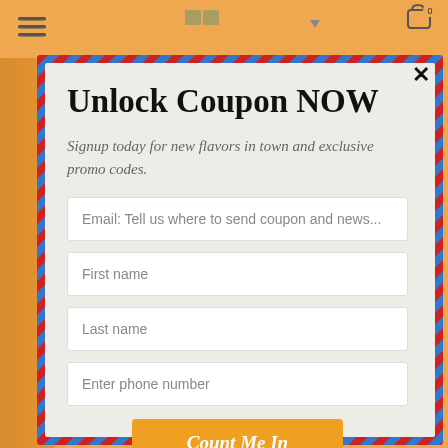[Figure (screenshot): Top navigation bar with hamburger menu icon, center logo/icons, and shopping cart icon with badge showing 0]
Unlock Coupon NOW
Signup today for new flavors in town and exclusive promo codes.
Email: Tell us where to send coupon and news...
First name
Last name
Enter phone number
Count Me In